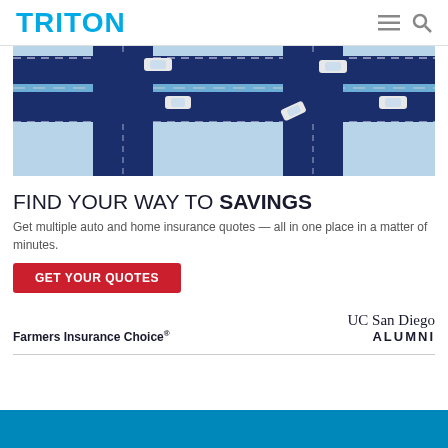TRITON
[Figure (illustration): Top-down illustration of a road intersection with cars on a dark navy blue road with dashed lane lines and light blue crosswalks/sidewalk areas]
FIND YOUR WAY TO SAVINGS
Get multiple auto and home insurance quotes — all in one place in a matter of minutes.
GET YOUR QUOTES
Farmers Insurance Choice®
[Figure (logo): UC San Diego ALUMNI logo in serif font]
[Figure (illustration): Bottom blue banner strip]